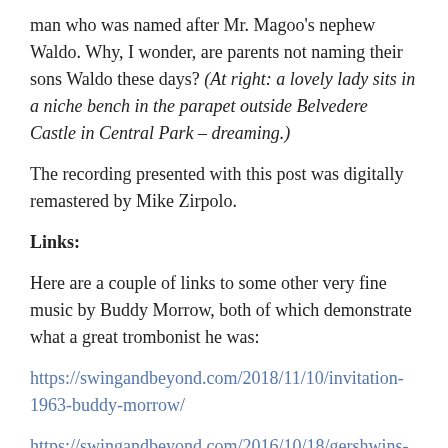man who was named after Mr. Magoo's nephew Waldo. Why, I wonder, are parents not naming their sons Waldo these days? (At right: a lovely lady sits in a niche bench in the parapet outside Belvedere Castle in Central Park – dreaming.)
The recording presented with this post was digitally remastered by Mike Zirpolo.
Links:
Here are a couple of links to some other very fine music by Buddy Morrow, both of which demonstrate what a great trombonist he was:
https://swingandbeyond.com/2018/11/10/invitation-1963-buddy-morrow/
https://swingandbeyond.com/2016/10/18/gershwins-piano-prelude-2-played-by-buddy-morrow-1964/